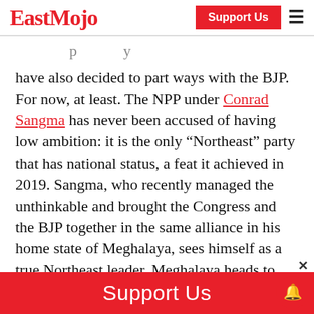EastMojo | Support Us
have also decided to part ways with the BJP. For now, at least. The NPP under Conrad Sangma has never been accused of having low ambition: it is the only “Northeast” party that has national status, a feat it achieved in 2019. Sangma, who recently managed the unthinkable and brought the Congress and the BJP together in the same alliance in his home state of Meghalaya, sees himself as a true Northeast leader. Meghalaya heads to elections next year, but for now, Sangma is